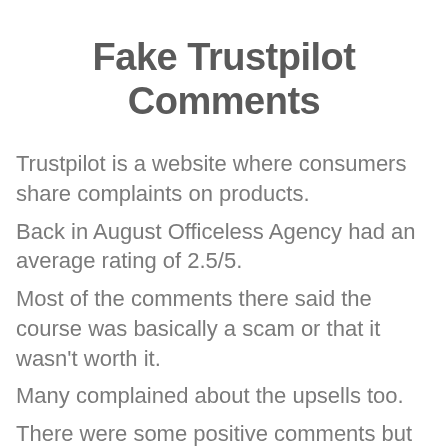Fake Trustpilot Comments
Trustpilot is a website where consumers share complaints on products.
Back in August Officeless Agency had an average rating of 2.5/5.
Most of the comments there said the course was basically a scam or that it wasn't worth it.
Many complained about the upsells too.
There were some positive comments but they were (to me) clearly faked.. most likely from the owners of